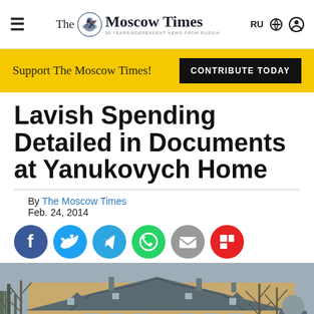The Moscow Times — Independent News From Russia
Support The Moscow Times! CONTRIBUTE TODAY
Lavish Spending Detailed in Documents at Yanukovych Home
By The Moscow Times
Feb. 24, 2014
[Figure (infographic): Social share icons: Facebook (blue), Twitter (light blue), Telegram (blue), WhatsApp (green), Email (grey), Flipboard (red)]
[Figure (photo): Exterior photo of a large mansion-style building with a steep grey roof, surrounded by bare winter trees. A person in a grey jacket is visible in the foreground on the right side.]